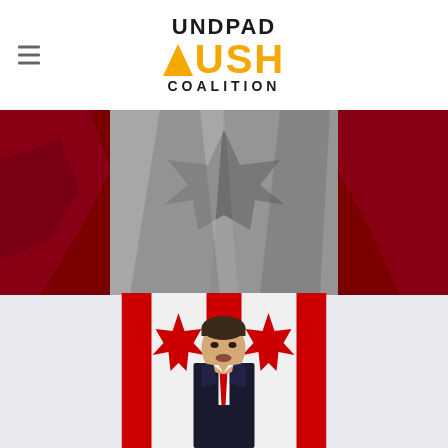[Figure (logo): UNDPAD PUSH COALITION logo with orange arrow icon and black text]
[Figure (photo): Canadian flag waving in red and grey tones, full-width banner image]
[Figure (photo): Photograph of a person in a dark suit with red tie standing in front of Canadian flags]